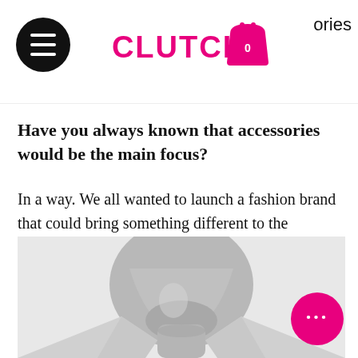CLUTCH — accessories
Have you always known that accessories would be the main focus?
In a way. We all wanted to launch a fashion brand that could bring something different to the industry, accessories became the ideal category for us to do this.
[Figure (photo): Black and white close-up photo of a man's neck and jaw wearing a light grey blazer, looking upward]